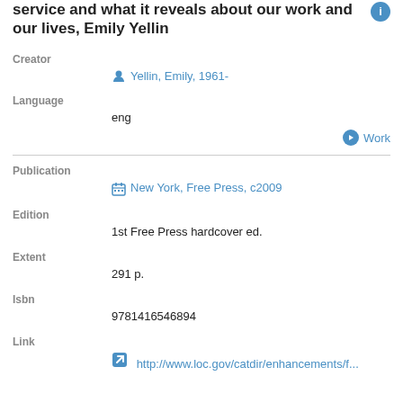service and what it reveals about our work and our lives, Emily Yellin
Creator
Yellin, Emily, 1961-
Language
eng
Work
Publication
New York, Free Press, c2009
Edition
1st Free Press hardcover ed.
Extent
291 p.
Isbn
9781416546894
Link
http://www.loc.gov/catdir/enhancements/f...